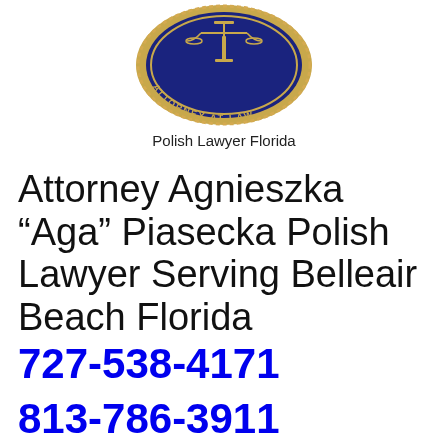[Figure (logo): Circular attorney seal/badge with navy blue background, rope border in gold/tan, scales of justice symbol in gold at top, text 'ATTORNEY AT LAW' along the bottom arc in gold lettering]
Polish Lawyer Florida
Attorney Agnieszka “Aga” Piasecka Polish Lawyer Serving Belleair Beach Florida
727-538-4171
813-786-3911